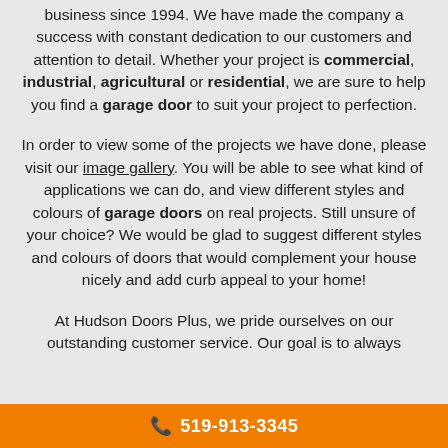business since 1994. We have made the company a success with constant dedication to our customers and attention to detail. Whether your project is commercial, industrial, agricultural or residential, we are sure to help you find a garage door to suit your project to perfection.
In order to view some of the projects we have done, please visit our image gallery. You will be able to see what kind of applications we can do, and view different styles and colours of garage doors on real projects. Still unsure of your choice? We would be glad to suggest different styles and colours of doors that would complement your house nicely and add curb appeal to your home!
At Hudson Doors Plus, we pride ourselves on our outstanding customer service. Our goal is to always
📞 519-913-3345